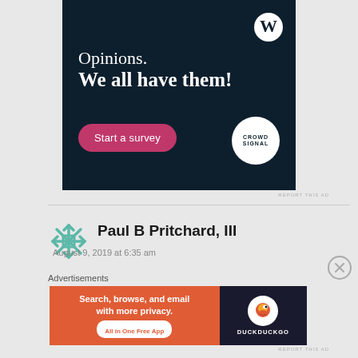[Figure (illustration): WordPress Crowdsignal advertisement banner with dark navy background. Text reads 'Opinions. We all have them!' with a pink 'Start a survey' button and Crowdsignal logo circle. WordPress W logo in top right.]
REPORT THIS AD
Paul B Pritchard, III
August 9, 2019 at 6:35 am
Advertisements
[Figure (illustration): DuckDuckGo advertisement. Left side orange background: 'Search, browse, and email with more privacy.' 'All in One Free App'. Right side dark background with DuckDuckGo logo and duck icon.]
REPORT THIS AD